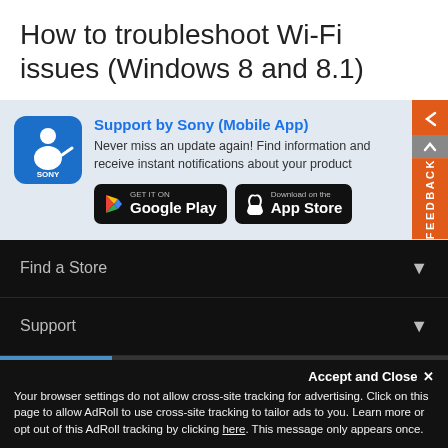How to troubleshoot Wi-Fi issues (Windows 8 and 8.1)
[Figure (infographic): Sony Support mobile app promotional banner with Sony app icon, text 'Support by Sony (Mobile App)', description, Google Play and App Store download buttons, and an orange feedback tab on the right side.]
Find a Store
Support
Accept and Close ✕
Your browser settings do not allow cross-site tracking for advertising. Click on this page to allow AdRoll to use cross-site tracking to tailor ads to you. Learn more or opt out of this AdRoll tracking by clicking here. This message only appears once.